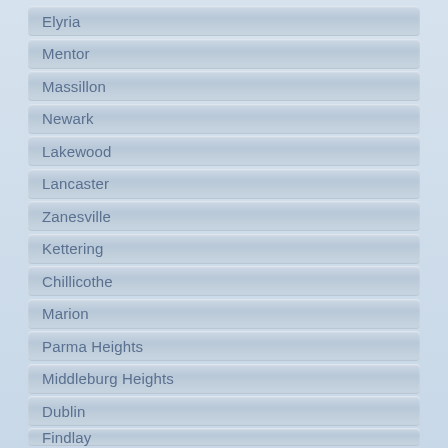Elyria
Mentor
Massillon
Newark
Lakewood
Lancaster
Zanesville
Kettering
Chillicothe
Marion
Parma Heights
Middleburg Heights
Dublin
Findlay